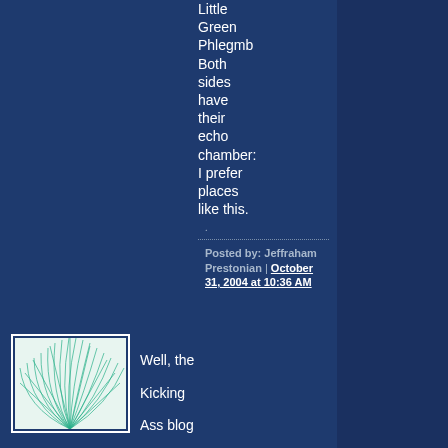Little Green Phlegmb Both sides have their echo chamber: I prefer places like this.
.
Posted by: Jeffraham Prestonian | October 31, 2004 at 10:36 AM
[Figure (illustration): Small square avatar image with a green geometric/web pattern on white background]
Well, the Kicking Ass blog